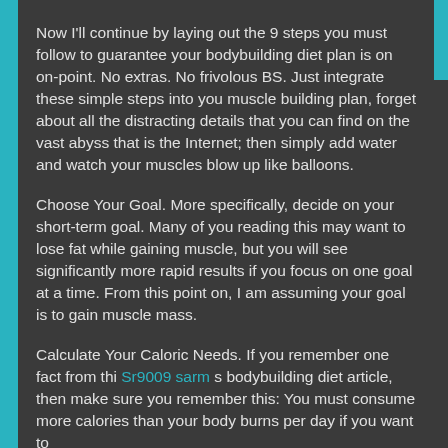Now I'll continue by laying out the 9 steps you must follow to guarantee your bodybuilding diet plan is on on-point. No extras. No frivolous BS. Just integrate these simple steps into you muscle building plan, forget about all the distracting details that you can find on the vast abyss that is the Internet; then simply add water and watch your muscles blow up like balloons.
Choose Your Goal. More specifically, decide on your short-term goal. Many of you reading this may want to lose fat while gaining muscle, but you will see significantly more rapid results if you focus on one goal at a time. From this point on, I am assuming your goal is to gain muscle mass.
Calculate Your Caloric Needs. If you remember one fact from thi Sr9009 sarm s bodybuilding diet article, then make sure you remember this: You must consume more calories than your body burns per day if you want to